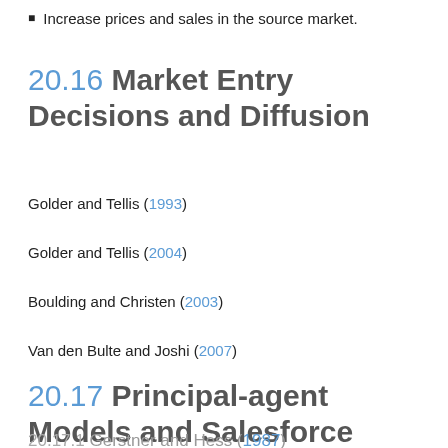Increase prices and sales in the source market.
20.16 Market Entry Decisions and Diffusion
Golder and Tellis (1993)
Golder and Tellis (2004)
Boulding and Christen (2003)
Van den Bulte and Joshi (2007)
20.17 Principal-agent Models and Salesforce Compensation
20.17.1 Gerstner and Hess (1987)